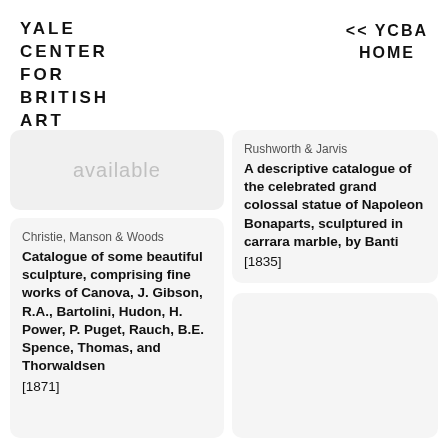YALE CENTER FOR BRITISH ART
<< YCBA HOME
available
Christie, Manson & Woods
Catalogue of some beautiful sculpture, comprising fine works of Canova, J. Gibson, R.A., Bartolini, Hudon, H. Power, P. Puget, Rauch, B.E. Spence, Thomas, and Thorwaldsen [1871]
Rushworth & Jarvis
A descriptive catalogue of the celebrated grand colossal statue of Napoleon Bonaparts, sculptured in carrara marble, by Banti [1835]